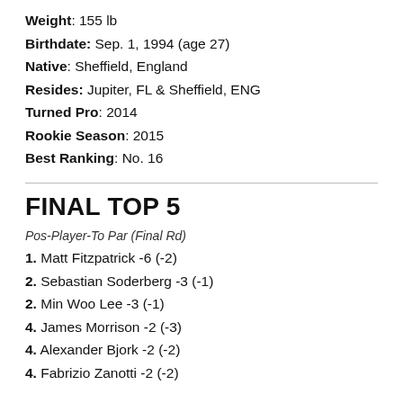Weight: 155 lb
Birthdate: Sep. 1, 1994 (age 27)
Native: Sheffield, England
Resides: Jupiter, FL & Sheffield, ENG
Turned Pro: 2014
Rookie Season: 2015
Best Ranking: No. 16
FINAL TOP 5
Pos-Player-To Par (Final Rd)
1. Matt Fitzpatrick -6 (-2)
2. Sebastian Soderberg -3 (-1)
2. Min Woo Lee -3 (-1)
4. James Morrison -2 (-3)
4. Alexander Bjork -2 (-2)
4. Fabrizio Zanotti -2 (-2)